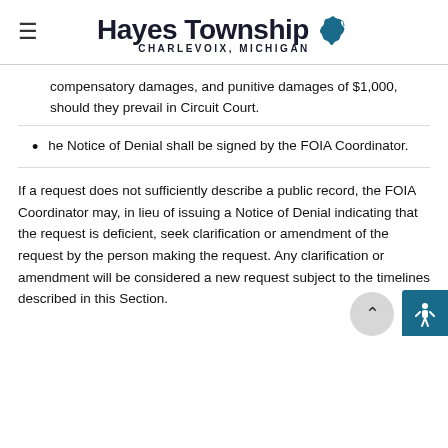Hayes Township — CHARLEVOIX, MICHIGAN
compensatory damages, and punitive damages of $1,000, should they prevail in Circuit Court.
he Notice of Denial shall be signed by the FOIA Coordinator.
If a request does not sufficiently describe a public record, the FOIA Coordinator may, in lieu of issuing a Notice of Denial indicating that the request is deficient, seek clarification or amendment of the request by the person making the request. Any clarification or amendment will be considered a new request subject to the timelines described in this Section.